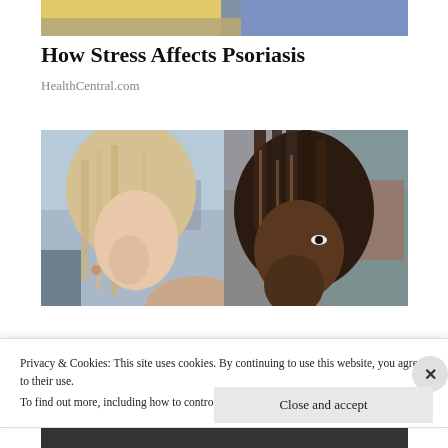[Figure (photo): Partial view of a person sitting with yellow pillow/cushion, cropped at top of page]
How Stress Affects Psoriasis
HealthCentral.com
[Figure (photo): Two side-by-side video stills: left shows a blonde woman in profile outdoors, right shows a woman with braided hair]
Privacy & Cookies: This site uses cookies. By continuing to use this website, you agree to their use.
To find out more, including how to control cookies, see here: Cookie Policy
Close and accept